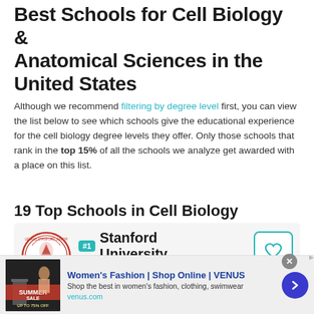Best Schools for Cell Biology & Anatomical Sciences in the United States
Although we recommend filtering by degree level first, you can view the list below to see which schools give the educational experience for the cell biology degree levels they offer. Only those schools that rank in the top 15% of all the schools we analyze get awarded with a place on this list.
19 Top Schools in Cell Biology
[Figure (illustration): Stanford University seal / logo — circular red and white seal with tree emblem and text 'LELAND STANFORD JUNIOR UNIVERSITY']
#1 Stanford University Stanford, CA
[Figure (infographic): Advertisement banner — Women's Fashion Shop Online VENUS. Shows promotional image with text 'SUMMER SALE', ad title, sub-text 'Shop the best in women's fashion, clothing, swimwear', URL venus.com, and a blue arrow button.]